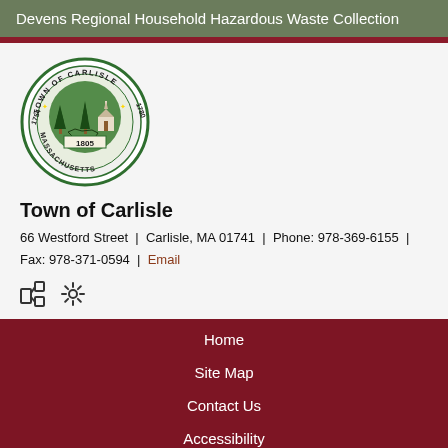Devens Regional Household Hazardous Waste Collection
[Figure (logo): Town of Carlisle seal — circular green seal with text 'Town of Carlisle', '1754', '1780', '1805', 'Massachusetts', showing trees, church, and state outline]
Town of Carlisle
66 Westford Street | Carlisle, MA 01741 | Phone: 978-369-6155 | Fax: 978-371-0594 | Email
Home
Site Map
Contact Us
Accessibility
Privacy
Copyright Notices